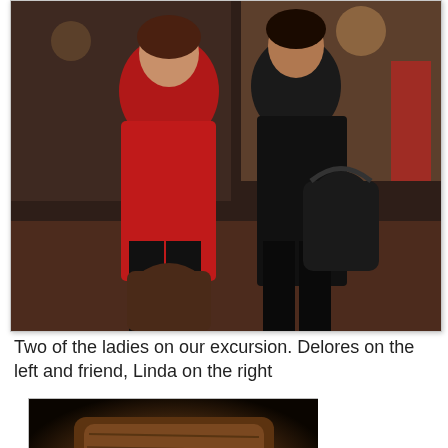[Figure (photo): Two women standing together indoors. Left woman wearing a red jacket and black pants, holding a dark brown handbag. Right woman wearing all black with a large black shoulder bag. Background shows interior of a venue with warm lighting.]
Two of the ladies on our excursion. Delores on the left and friend, Linda on the right
[Figure (photo): A dark, shadowy photograph of what appears to be a wooden carved or textured object, dark brown tones with warm ambient lighting.]